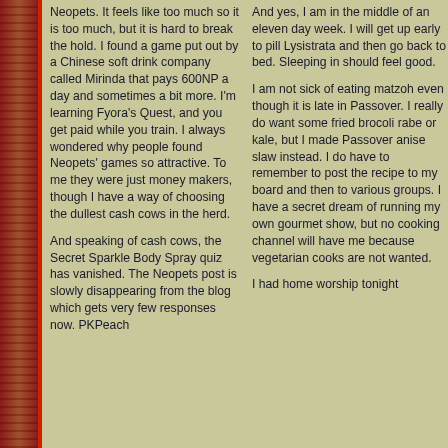Neopets. It feels like too much so it is too much, but it is hard to break the hold. I found a game put out by a Chinese soft drink company called Mirinda that pays 600NP a day and sometimes a bit more. I'm learning Fyora's Quest, and you get paid while you train. I always wondered why people found Neopets' games so attractive. To me they were just money makers, though I have a way of choosing the dullest cash cows in the herd.
And speaking of cash cows, the Secret Sparkle Body Spray quiz has vanished. The Neopets post is slowly disappearing from the blog which gets very few responses now. PKPeach
And yes, I am in the middle of an eleven day week. I will get up early to pill Lysistrata and then go back to bed. Sleeping in should feel good.
I am not sick of eating matzoh even though it is late in Passover. I really do want some fried brocoli rabe or kale, but I made Passover anise slaw instead. I do have to remember to post the recipe to my board and then to various groups. I have a secret dream of running my own gourmet show, but no cooking channel will have me because vegetarian cooks are not wanted.
I had home worship tonight